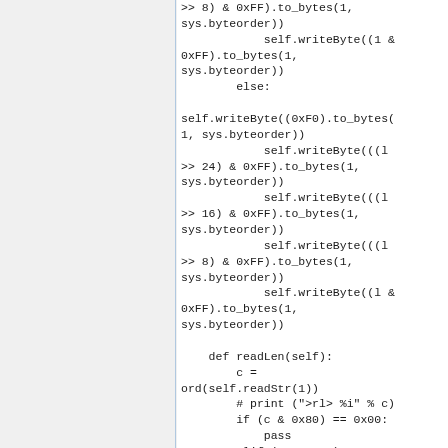Code snippet showing Python writeByte and readLen methods with byte manipulation